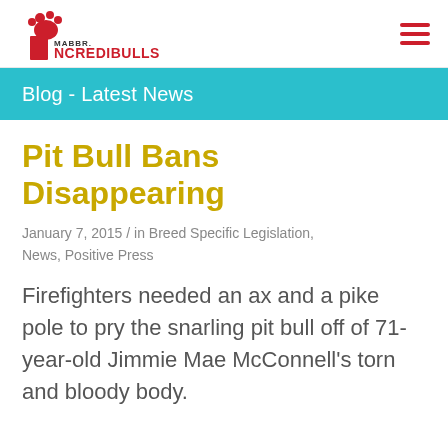MABBR INCREDIBULLS Mid-America Bully Breed Rescue
Blog - Latest News
Pit Bull Bans Disappearing
January 7, 2015 / in Breed Specific Legislation, News, Positive Press
Firefighters needed an ax and a pike pole to pry the snarling pit bull off of 71-year-old Jimmie Mae McConnell's torn and bloody body.